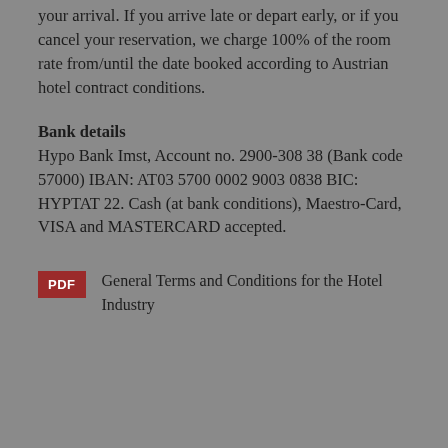your arrival. If you arrive late or depart early, or if you cancel your reservation, we charge 100% of the room rate from/until the date booked according to Austrian hotel contract conditions.
Bank details
Hypo Bank Imst, Account no. 2900-308 38 (Bank code 57000) IBAN: AT03 5700 0002 9003 0838 BIC: HYPTAT 22. Cash (at bank conditions), Maestro-Card, VISA and MASTERCARD accepted.
General Terms and Conditions for the Hotel Industry